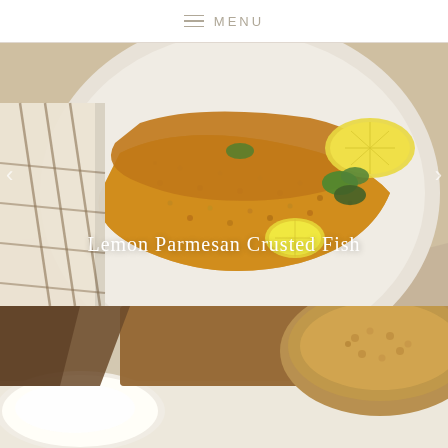MENU
[Figure (photo): A breaded lemon parmesan crusted fish fillet on a white ceramic plate, garnished with lemon slices and fresh herbs, with a checkered cloth napkin to the left on a marble surface. Title overlay: Lemon Parmesan Crusted Fish]
[Figure (photo): Close-up of ingredients for lemon parmesan crusted fish — a bowl of breadcrumbs and a plate with flour on a light marble surface.]